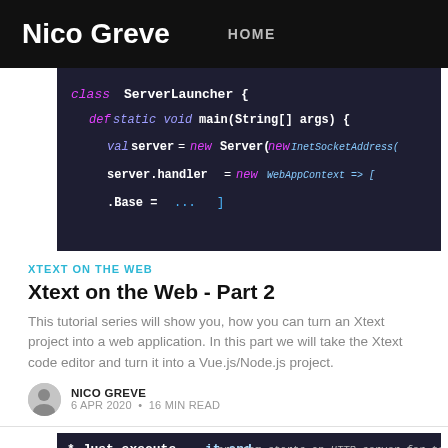Nico Greve  HOME
[Figure (screenshot): Code editor screenshot showing Scala/Java code: class ServerLauncher { def static void main(String[] args) { val server = new Server(new InetSocketAddress( server.handler = new WebAppContext => [ .Base = ...]
XTEXT ON THE WEB
Xtext on the Web - Part 2
This tutorial series will show you, how you can turn an Xtext project into a web application. In this part we will take the Xtext code editor and turn it into a Vue.js/Node.js project.
NICO GREVE
6 APR 2020 • 16 MIN READ
[Figure (screenshot): Code screenshot showing: * Just execute it and ... program starts an HTTP server for testing]